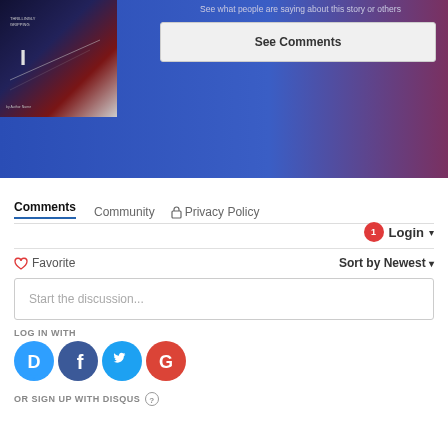[Figure (screenshot): Blue-to-purple gradient banner with a book cover thumbnail on the left]
See what people are saying about this story or others
See Comments
Comments
Community
Privacy Policy
1  Login ▾
♡ Favorite
Sort by Newest ▾
Start the discussion...
LOG IN WITH
[Figure (infographic): Social login icons: Disqus (D), Facebook (f), Twitter bird, Google (G)]
OR SIGN UP WITH DISQUS ?